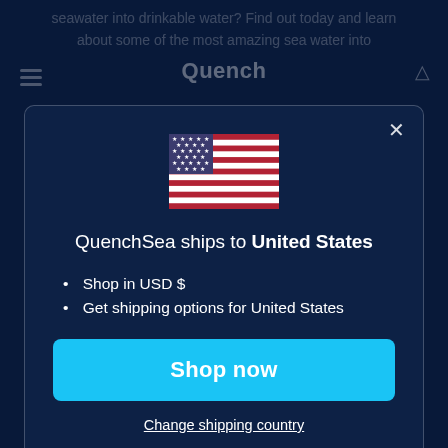seawater into drinkable water? Find out today and learn about some of the most amazing sea water into
Quench
[Figure (screenshot): Modal dialog on a dark navy blue website background. Shows a US flag icon, text 'QuenchSea ships to United States', bullet points 'Shop in USD $' and 'Get shipping options for United States', a cyan 'Shop now' button, and an underlined 'Change shipping country' link. A close (X) button is in the top-right corner of the modal.]
Top 100 startups shaping the